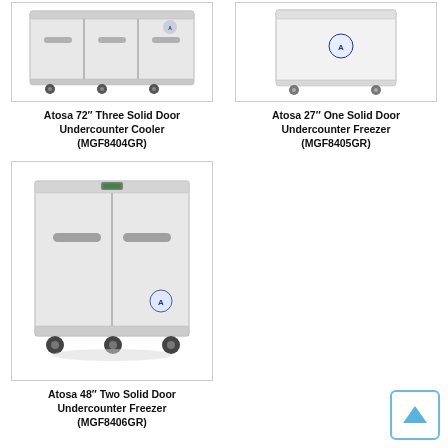[Figure (photo): Atosa 72 inch Three Solid Door Undercounter Cooler (MGF8404GR) product image]
Atosa 72″ Three Solid Door Undercounter Cooler (MGF8404GR)
[Figure (photo): Atosa 27 inch One Solid Door Undercounter Freezer (MGF8405GR) product image]
Atosa 27″ One Solid Door Undercounter Freezer (MGF8405GR)
[Figure (photo): Atosa 48 inch Two Solid Door Undercounter Freezer (MGF8406GR) product image]
Atosa 48″ Two Solid Door Undercounter Freezer (MGF8406GR)